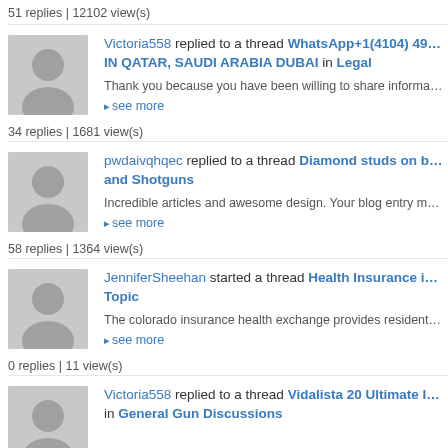51 replies | 12102 view(s)
Victoria558 replied to a thread WhatsApp+1(4104) 49... IN QATAR, SAUDI ARABIA DUBAI in Legal
Thank you because you have been willing to share information w... have done here because I know you are very...
▸ see more
34 replies | 1681 view(s)
pwdaivqhqec replied to a thread Diamond studs on b... and Shotguns
Incredible articles and awesome design. Your blog entry merits th... been getting. N95 mask black
▸ see more
58 replies | 1364 view(s)
JenniferSheehan started a thread Health Insurance i... Topic
The colorado insurance health exchange provides residents acc...
▸ see more
0 replies | 11 view(s)
Victoria558 replied to a thread Vidalista 20 Ultimate I... in General Gun Discussions